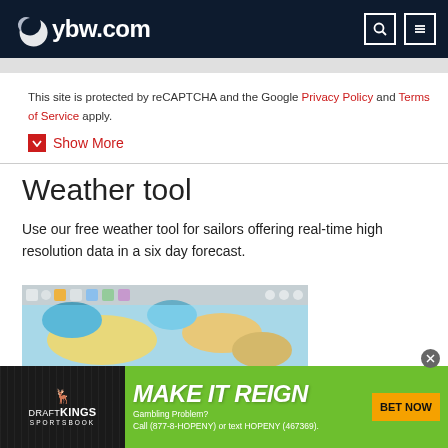ybw.com
This site is protected by reCAPTCHA and the Google Privacy Policy and Terms of Service apply.
Show More
Weather tool
Use our free weather tool for sailors offering real-time high resolution data in a six day forecast.
[Figure (screenshot): Weather map showing colored temperature/wind overlay with toolbar icons at top]
[Figure (infographic): DraftKings Sportsbook advertisement banner reading MAKE IT REIGN with BET NOW button]